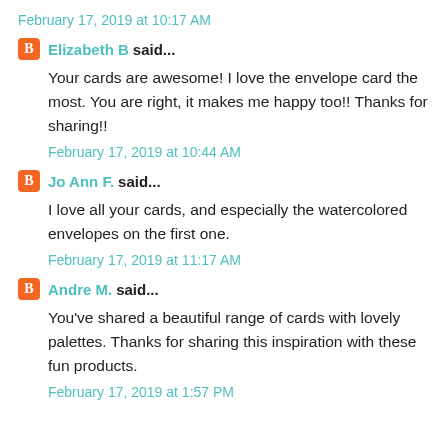February 17, 2019 at 10:17 AM
Elizabeth B said...
Your cards are awesome! I love the envelope card the most. You are right, it makes me happy too!! Thanks for sharing!!
February 17, 2019 at 10:44 AM
Jo Ann F. said...
I love all your cards, and especially the watercolored envelopes on the first one.
February 17, 2019 at 11:17 AM
Andre M. said...
You've shared a beautiful range of cards with lovely palettes. Thanks for sharing this inspiration with these fun products.
February 17, 2019 at 1:57 PM